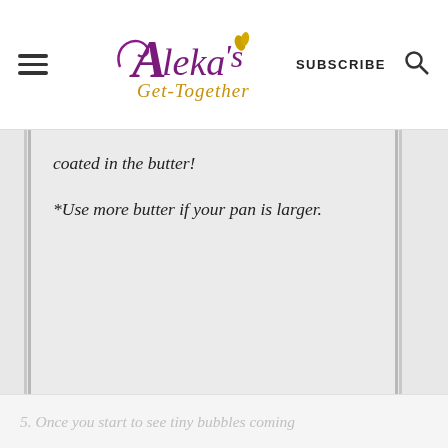[Figure (logo): Aleka's Get-Together logo with stylized script text in purple and gold/orange]
coated in the butter!
*Use more butter if your pan is larger.
5. Once you start to see tiny bubbles coming